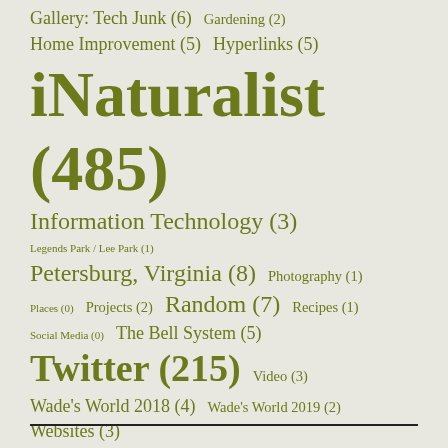Gallery: Tech Junk (6)  Gardening (2)
Home Improvement (5)  Hyperlinks (5)
iNaturalist (485)
Information Technology (3)
Legends Park / Lee Park (1)
Petersburg, Virginia (8)  Photography (1)
Places (0)  Projects (2)  Random (7)  Recipes (1)
Social Media (0)  The Bell System (5)
Twitter (215)  Video (3)
Wade's World 2018 (4)  Wade's World 2019 (2)
Websites (3)